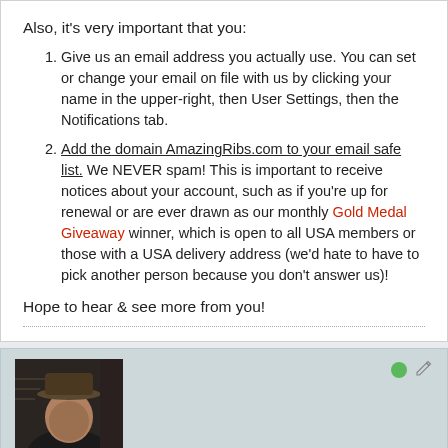Also, it's very important that you:
Give us an email address you actually use. You can set or change your email on file with us by clicking your name in the upper-right, then User Settings, then the Notifications tab.
Add the domain AmazingRibs.com to your email safe list. We NEVER spam! This is important to receive notices about your account, such as if you're up for renewal or are ever drawn as our monthly Gold Medal Giveaway winner, which is open to all USA members or those with a USA delivery address (we'd hate to have to pick another person because you don't answer us)!
Hope to hear & see more from you!
[Figure (photo): Profile photo of a man wearing a dark hat, with bookshelves in background]
MBMorgan